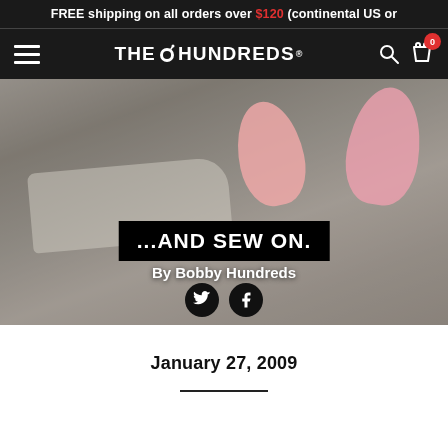FREE shipping on all orders over $120 (continental US or
THE HUNDREDS
[Figure (photo): Sneaker store shelves with Nike shoes and pink fuzzy items in background; hero image for article '...AND SEW ON.' by Bobby Hundreds]
...AND SEW ON.
By Bobby Hundreds
January 27, 2009